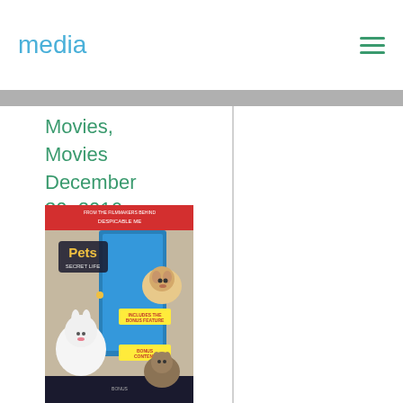media
Movies, Movies
December 30, 2016
In Ancient Polynesia, when a terrible curse incurred [...]
No Comments
[Figure (photo): Movie poster for The Secret Life of Pets DVD/Blu-ray cover]